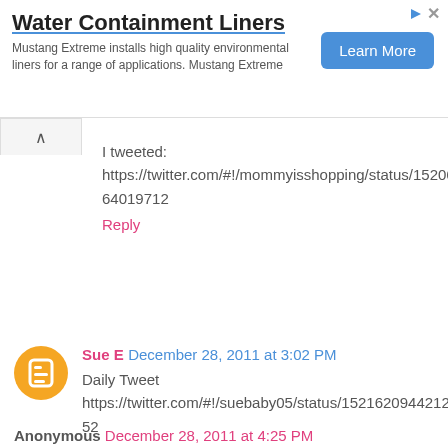[Figure (screenshot): Advertisement banner for Water Containment Liners by Mustang Extreme with a Learn More button]
I tweeted: https://twitter.com/#!/mommyisshopping/status/152068083564019712
Reply
Sue E  December 28, 2011 at 3:02 PM
Daily Tweet https://twitter.com/#!/suebaby05/status/152162094421245952

suebee05@gmail.com
Reply
Anonymous  December 28, 2011 at 4:25 PM